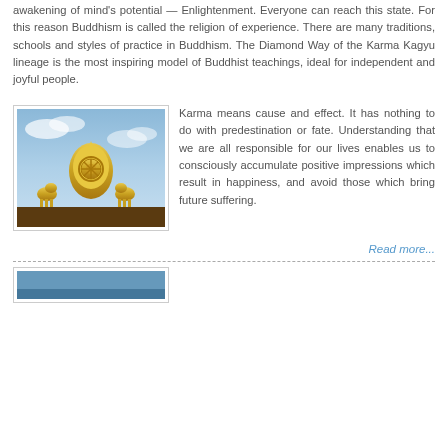awakening of mind's potential — Enlightenment. Everyone can reach this state. For this reason Buddhism is called the religion of experience. There are many traditions, schools and styles of practice in Buddhism. The Diamond Way of the Karma Kagyu lineage is the most inspiring model of Buddhist teachings, ideal for independent and joyful people.
[Figure (photo): Photo of golden Dharma wheel ornament with two golden deer flanking it on a rooftop against a blue sky background]
Karma means cause and effect. It has nothing to do with predestination or fate. Understanding that we are all responsible for our lives enables us to consciously accumulate positive impressions which result in happiness, and avoid those which bring future suffering.
Read more...
[Figure (photo): Partial photo visible at bottom of page, blue tones]